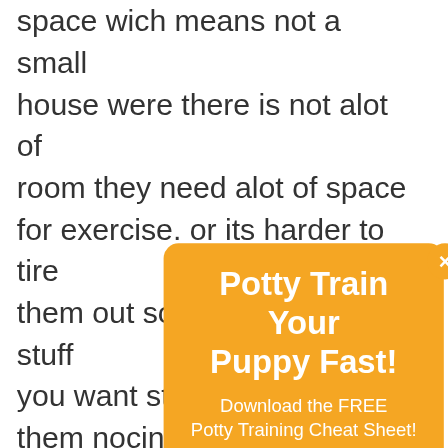space wich means not a small house were there is not alot of room they need alot of space for exercise. or its harder to tire them out so you would need stuff you want stuff to keep them nocing things over and another thing is greyhounds do well in town they do best in the country because they need lots of room to run so having a extra large yard is best other wise you will end up with more energy inside the house its
[Figure (other): Orange popup overlay with title 'Potty Train Your Puppy Fast!', subtitle 'Download the FREE Potty Training Cheat Sheet!', and a dark 'Download Now' button. Has an X close button in top right corner.]